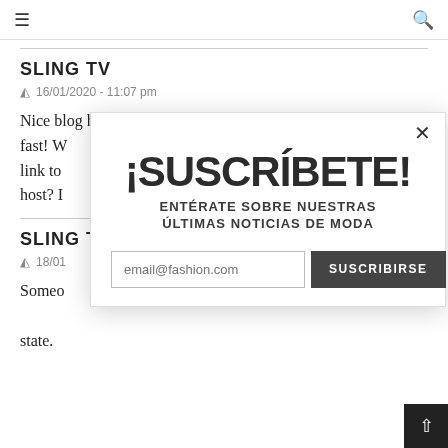≡  [search icon]
SLING TV
16/01/2020 - 11:07 pm
Nice blog here! Also your web site loads up fast! W link to host? I
SLING T
18/01
Someo state.
[Figure (screenshot): Subscription popup modal with '¡SUSCRÍBETE! ENTÉRATE SOBRE NUESTRAS ÚLTIMAS NOTICIAS DE MODA' headline, an email input field placeholder 'email@fashion.com', and a 'SUSCRIBIRSE' button. Has a close X button at top right.]